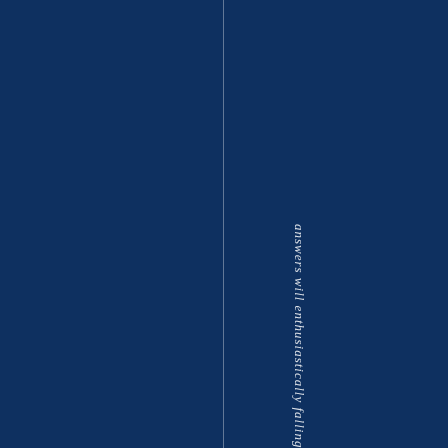[Figure (other): Dark navy blue background with a vertical thin white/light line dividing the page. Vertical italicized text reading 'answers will enthusiastically falling b' is displayed along the right portion of the page.]